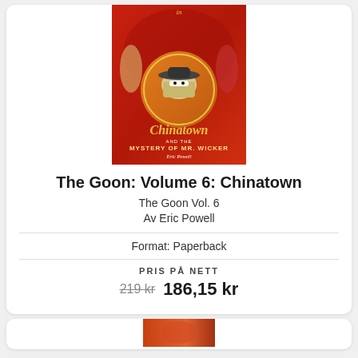[Figure (illustration): Book cover for 'The Goon: Volume 6: Chinatown and the Mystery of Mr. Wicker' by Eric Powell. Red illustrated cover with Chinatown text in yellow/orange style lettering.]
The Goon: Volume 6: Chinatown
The Goon Vol. 6
Av Eric Powell
Format: Paperback
PRIS PÅ NETT
219 kr  186,15 kr
[Figure (photo): Partial view of another book cover at the bottom of the page.]